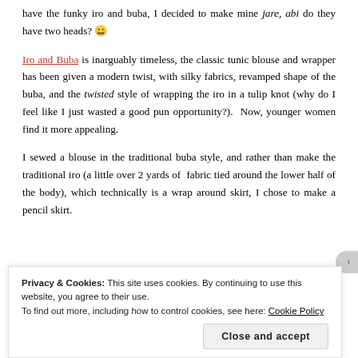have the funky iro and buba, I decided to make mine jare, abi do they have two heads? 😀
Iro and Buba is inarguably timeless, the classic tunic blouse and wrapper has been given a modern twist, with silky fabrics, revamped shape of the buba, and the twisted style of wrapping the iro in a tulip knot (why do I feel like I just wasted a good pun opportunity?). Now, younger women find it more appealing.
I sewed a blouse in the traditional buba style, and rather than make the traditional iro (a little over 2 yards of fabric tied around the lower half of the body), which technically is a wrap around skirt, I chose to make a pencil skirt.
[Figure (photo): Partial view of fabric with floral/leaf pattern in green, white and red tones]
Privacy & Cookies: This site uses cookies. By continuing to use this website, you agree to their use.
To find out more, including how to control cookies, see here: Cookie Policy
Close and accept